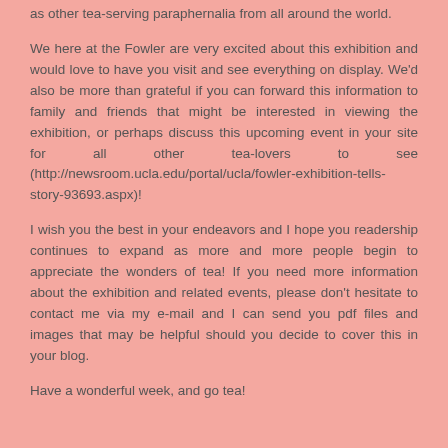as other tea-serving paraphernalia from all around the world.
We here at the Fowler are very excited about this exhibition and would love to have you visit and see everything on display. We'd also be more than grateful if you can forward this information to family and friends that might be interested in viewing the exhibition, or perhaps discuss this upcoming event in your site for all other tea-lovers to see (http://newsroom.ucla.edu/portal/ucla/fowler-exhibition-tells-story-93693.aspx)!
I wish you the best in your endeavors and I hope you readership continues to expand as more and more people begin to appreciate the wonders of tea! If you need more information about the exhibition and related events, please don't hesitate to contact me via my e-mail and I can send you pdf files and images that may be helpful should you decide to cover this in your blog.
Have a wonderful week, and go tea!